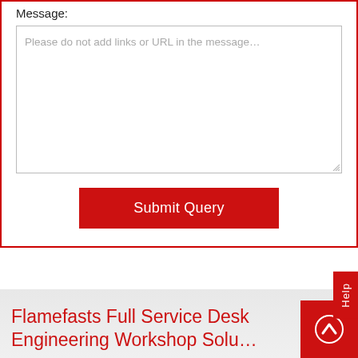Message:
[Figure (screenshot): A textarea input field with placeholder text 'Please do not add links or URL in the message...']
Submit Query
Help
Flamefasts Full Service Des... Engineering Workshop Solu...